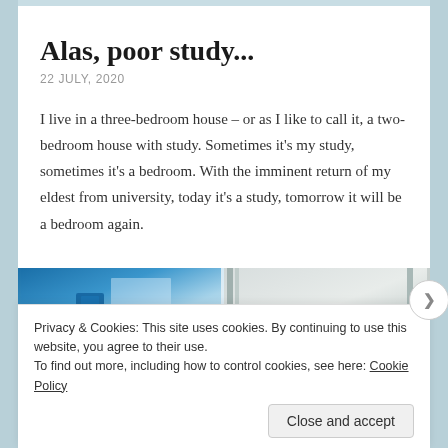Alas, poor study...
22 JULY, 2020
I live in a three-bedroom house – or as I like to call it, a two-bedroom house with study. Sometimes it's my study, sometimes it's a bedroom. With the imminent return of my eldest from university, today it's a study, tomorrow it will be a bedroom again.
[Figure (photo): Two-panel image: left panel shows a blue binder/folder against a light blue background; right panel shows light grey shelving or furniture.]
Privacy & Cookies: This site uses cookies. By continuing to use this website, you agree to their use.
To find out more, including how to control cookies, see here: Cookie Policy
Close and accept